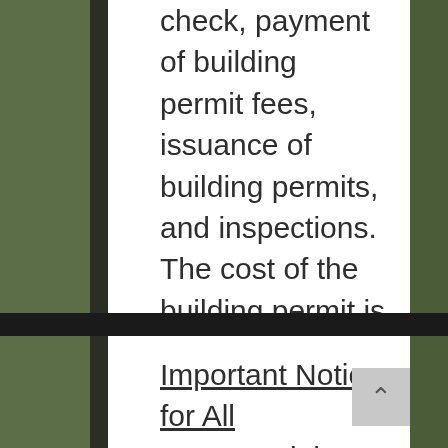check, payment of building permit fees, issuance of building permits, and inspections. The cost of the building permit is based on the valuation of the project.
Important Notice for All Commercial Building Owners and Permit Applicants
California Assembly Bill 3002 went into effect on January 1, 2019, requiring cities and counties to provide additional information regarding disability access requirements and related resources to all property and business owners applying for commercial building